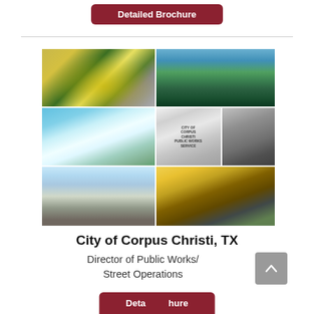[Figure (other): Button labeled 'Detailed Brochure' with dark red rounded rectangle background, white text, at top of page]
[Figure (photo): Grid of 7 photos showing City of Corpus Christi public works scenes: worker painting road markings, aerial city/marina view, coastal dunes/beach, City of Corpus Christi Public Works Service truck, road marking number, boardwalk/pier scene, road roller/paving crew]
City of Corpus Christi, TX
Director of Public Works/ Street Operations
[Figure (other): Gray square scroll-up arrow button]
[Figure (other): Partial 'Detailed Brochure' button at bottom of page, dark red background, white text, partially cut off]